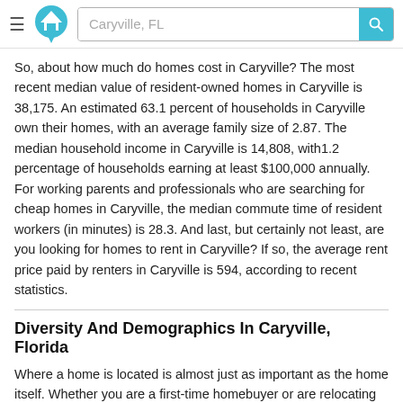Caryville, FL
So, about how much do homes cost in Caryville? The most recent median value of resident-owned homes in Caryville is 38,175. An estimated 63.1 percent of households in Caryville own their homes, with an average family size of 2.87. The median household income in Caryville is 14,808, with1.2 percentage of households earning at least $100,000 annually. For working parents and professionals who are searching for cheap homes in Caryville, the median commute time of resident workers (in minutes) is 28.3. And last, but certainly not least, are you looking for homes to rent in Caryville? If so, the average rent price paid by renters in Caryville is 594, according to recent statistics.
Diversity And Demographics In Caryville, Florida
Where a home is located is almost just as important as the home itself. Whether you are a first-time homebuyer or are relocating to Caryville, it is essential to take a deep dive into your potential future neighborhood. Homeownership is often a long-term relationship; therefore, be sure to do your due diligence to